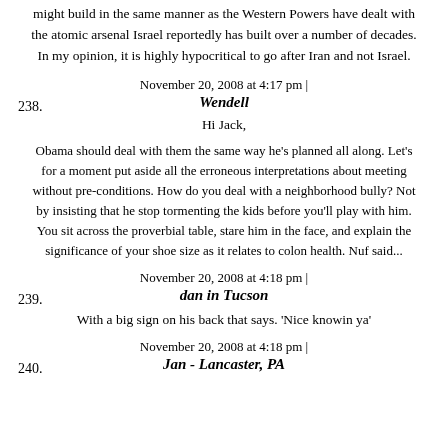might build in the same manner as the Western Powers have dealt with the atomic arsenal Israel reportedly has built over a number of decades. In my opinion, it is highly hypocritical to go after Iran and not Israel.
November 20, 2008 at 4:17 pm |
Wendell
Hi Jack,
Obama should deal with them the same way he's planned all along. Let's for a moment put aside all the erroneous interpretations about meeting without pre-conditions. How do you deal with a neighborhood bully? Not by insisting that he stop tormenting the kids before you'll play with him. You sit across the proverbial table, stare him in the face, and explain the significance of your shoe size as it relates to colon health. Nuf said...
November 20, 2008 at 4:18 pm |
dan in Tucson
With a big sign on his back that says. 'Nice knowin ya'
November 20, 2008 at 4:18 pm |
Jan - Lancaster, PA